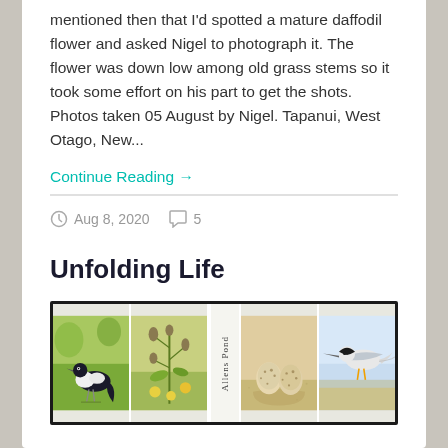mentioned then that I'd spotted a mature daffodil flower and asked Nigel to photograph it. The flower was down low among old grass stems so it took some effort on his part to get the shots. Photos taken 05 August by Nigel. Tapanui, West Otago, New...
Continue Reading →
Aug 8, 2020   5
Unfolding Life
[Figure (illustration): A horizontal strip of four watercolour illustrations in a black-bordered frame with a white tab notch at top. Left to right: a magpie bird on green background, botanical plant with yellow flowers on muted green/yellow background, a vertical strip with 'Allens Pond' text, two speckled eggs on sandy background, a tern bird with grey and white plumage.]